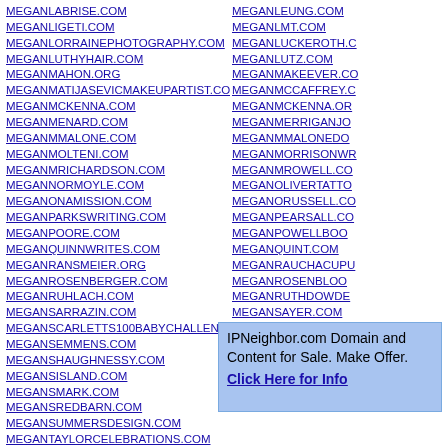MEGANLABRISE.COM
MEGANLIGETI.COM
MEGANLORRAINEPHOTOGRAPHY.COM
MEGANLUTHYHAIR.COM
MEGANMAHON.ORG
MEGANMATIJASEVICMAKEUPARTIST.COM
MEGANMCKENNA.COM
MEGANMENARD.COM
MEGANMMALONE.COM
MEGANMOLTENI.COM
MEGANMRICHARDSON.COM
MEGANNORMOYLE.COM
MEGANONAMISSION.COM
MEGANPARKSWRITING.COM
MEGANPOORE.COM
MEGANQUINNWRITES.COM
MEGANRANSMEIER.ORG
MEGANROSENBERGER.COM
MEGANRUHLACH.COM
MEGANSARRAZIN.COM
MEGANSCARLETTS100BABYCHALLENGE.COM
MEGANSEMMENS.COM
MEGANSHAUGHNESSY.COM
MEGANSISLAND.COM
MEGANSMARK.COM
MEGANSREDBARN.COM
MEGANSUMMERSDESIGN.COM
MEGANTAYLORCELEBRATIONS.COM
MEGANLEUNG.COM
MEGANLMT.COM
MEGANLUCKEROTH.C...
MEGANLUTZ.COM
MEGANMAKEEVER.CO...
MEGANMCCAFFREY.C...
MEGANMCKENNA.OR...
MEGANMERRIGANJO...
MEGANMMALONEDO...
MEGANMORRISONWR...
MEGANMROWELL.CO...
MEGANOLIVERTATTO...
MEGANORUSSELL.CO...
MEGANPEARSALL.CO...
MEGANPOWELLBOO...
MEGANQUINT.COM
MEGANRAUCHACUPU...
MEGANROSENBLOO...
MEGANRUTHDOWDE...
MEGANSAYER.COM
MEGANSCHLEYPHOT...
MEGANSFICTIONS.CO...
MEGANSHERIDAN.CO...
MEGANSLA WJOURN...
IPNeighbor.com Domain and Content for Sale. Make Offer. Click Here for Info